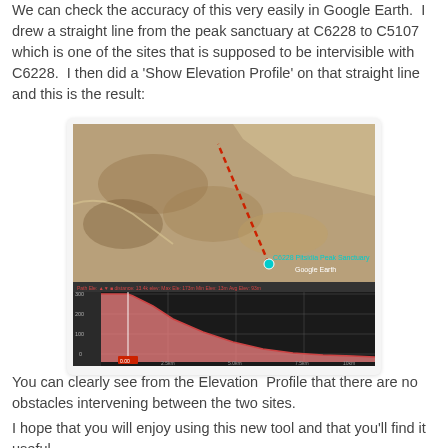We can check the accuracy of this very easily in Google Earth. I drew a straight line from the peak sanctuary at C6228 to C5107 which is one of the sites that is supposed to be intervisible with C6228. I then did a 'Show Elevation Profile' on that straight line and this is the result:
[Figure (screenshot): Google Earth satellite view showing a red dotted line from C6228 peak sanctuary to C5107, with a coastal landscape featuring brown terrain and blue sea in the upper right. Below the satellite image is an elevation profile chart showing a descending pink area curve from left (high elevation ~300) to right (low elevation near 0), with a vertical marker line at the left peak.]
You can clearly see from the Elevation Profile that there are no obstacles intervening between the two sites.
I hope that you will enjoy using this new tool and that you'll find it useful.